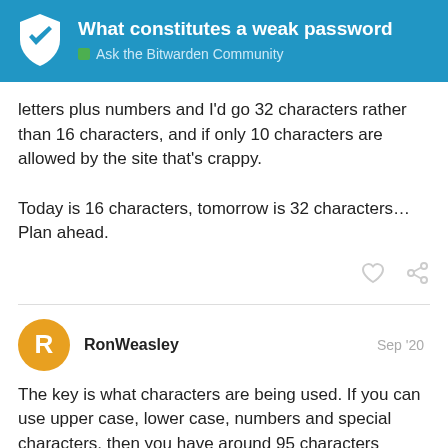What constitutes a weak password | Ask the Bitwarden Community
letters plus numbers and I'd go 32 characters rather than 16 characters, and if only 10 characters are allowed by the site that's crappy.

Today is 16 characters, tomorrow is 32 characters… Plan ahead.
RonWeasley Sep '20
The key is what characters are being used. If you can use upper case, lower case, numbers and special characters, then you have around 95 characters available. A random 11 digit password made up of such is uncrackable unless someone comes up with a practical quantum computer any time soon.

The most powerful super computer, processing 1 billion brute